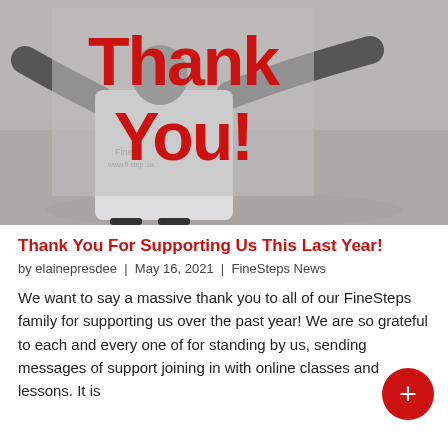[Figure (photo): Black and white photo of a person in a FineSteps t-shirt with arms outstretched, with a semi-transparent overlay box containing large red 'Thank You!' text]
Thank You For Supporting Us This Last Year!
by elainepresdee | May 16, 2021 | FineSteps News
We want to say a massive thank you to all of our FineSteps family for supporting us over the past year! We are so grateful to each and every one of for standing by us, sending messages of support joining in with online classes and lessons. It is